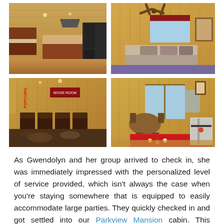[Figure (photo): Four interior photos of a large log cabin arranged in a 2x2 grid: top-left shows a spacious kitchen with dark wood cabinets and island, top-right shows a master bedroom with pine walls and ceiling fan, bottom-left shows a home theater room with leather recliner seats and popcorn sign, bottom-right shows a game room with pool table and air hockey table.]
As Gwendolyn and her group arrived to check in, she was immediately impressed with the personalized level of service provided, which isn't always the case when you're staying somewhere that is equipped to easily accommodate large parties. They quickly checked in and got settled into our Parkview Mansion cabin. This spacious 9-bedroom cabin can sleep up to 27 guests, which gave Gwendolyn and the other ladies ample room for personal space when they needed it, as well as